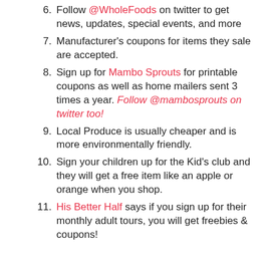Follow @WholeFoods on twitter to get news, updates, special events, and more
Manufacturer's coupons for items they sale are accepted.
Sign up for Mambo Sprouts for printable coupons as well as home mailers sent 3 times a year. Follow @mambosprouts on twitter too!
Local Produce is usually cheaper and is more environmentally friendly.
Sign your children up for the Kid's club and they will get a free item like an apple or orange when you shop.
His Better Half says if you sign up for their monthly adult tours, you will get freebies & coupons!